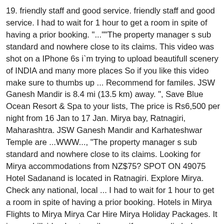19. friendly staff and good service. friendly staff and good service. I had to wait for 1 hour to get a room in spite of having a prior booking. "...""The property manager s sub standard and nowhere close to its claims. This video was shot on a IPhone 6s i`m trying to upload beautifull scenery of INDIA and many more places So if you like this video make sure to thumbs up ... Recommend for familes. JSW Ganesh Mandir is 8.4 mi (13.5 km) away. ", Save Blue Ocean Resort & Spa to your lists, The price is Rs6,500 per night from 16 Jan to 17 Jan. Mirya bay, Ratnagiri, Maharashtra. JSW Ganesh Mandir and Karhateshwar Temple are ...WWW..., "The property manager s sub standard and nowhere close to its claims. Looking for Mirya accommodations from NZ$75? SPOT ON 49075 Hotel Sadanand is located in Ratnagiri. Explore Mirya. Check any national, local ... I had to wait for 1 hour to get a room in spite of having a prior booking. Hotels in Mirya Flights to Mirya Mirya Car Hire Mirya Holiday Packages. It is on a hillside about a mile away if you can climb down the cliffs. Find the best Houses & Villas for sale in Ratnagiri. Mirya